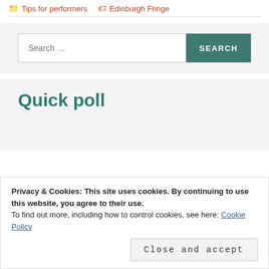Tips for performers   Edinburgh Fringe
Quick poll
Privacy & Cookies: This site uses cookies. By continuing to use this website, you agree to their use.
To find out more, including how to control cookies, see here: Cookie Policy
Close and accept